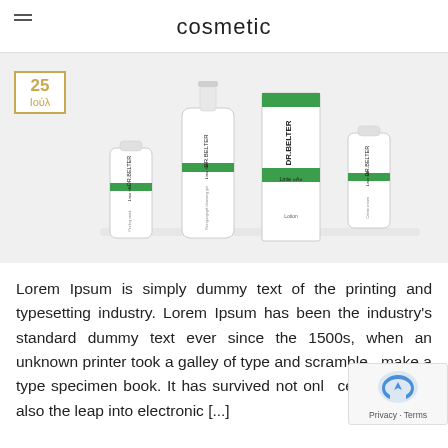cosmetic
[Figure (photo): DR. BELTER cosmetic product lineup including Linie A+ cleaning gel, lotion box, and cream tubes on white background]
Lorem Ipsum is simply dummy text of the printing and typesetting industry. Lorem Ipsum has been the industry's standard dummy text ever since the 1500s, when an unknown printer took a galley of type and scrambled it to make a type specimen book. It has survived not only five centuries, but also the leap into electronic [...]